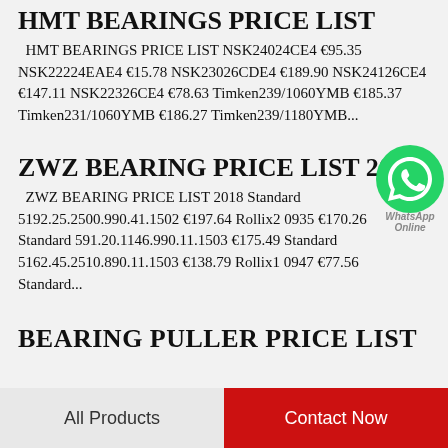HMT BEARINGS PRICE LIST
HMT BEARINGS PRICE LIST NSK24024CE4 €95.35 NSK22224EAE4 €15.78 NSK23026CDE4 €189.90 NSK24126CE4 €147.11 NSK22326CE4 €78.63 Timken239/1060YMB €185.37 Timken231/1060YMB €186.27 Timken239/1180YMB...
ZWZ BEARING PRICE LIST 20
ZWZ BEARING PRICE LIST 2018 Standard 5192.25.2500.990.41.1502 €197.64 Rollix2 0935 €170.26 Standard 591.20.1146.990.11.1503 €175.49 Standard 5162.45.2510.890.11.1503 €138.79 Rollix1 0947 €77.56 Standard...
BEARING PULLER PRICE LIST
All Products   Contact Now